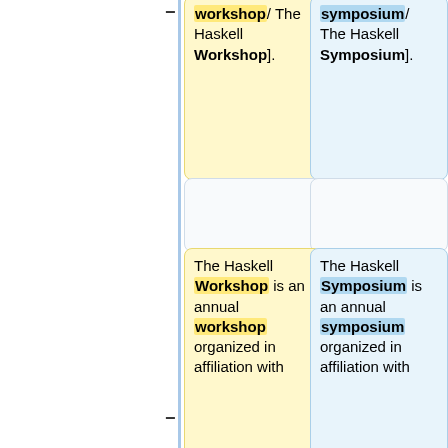[Figure (other): Diff/comparison view showing two columns of text boxes with yellow (left) and blue (right) highlights, separated by a vertical blue line, with minus and plus markers indicating deletions and additions. Left column shows workshop-related text, right column shows symposium-related text.]